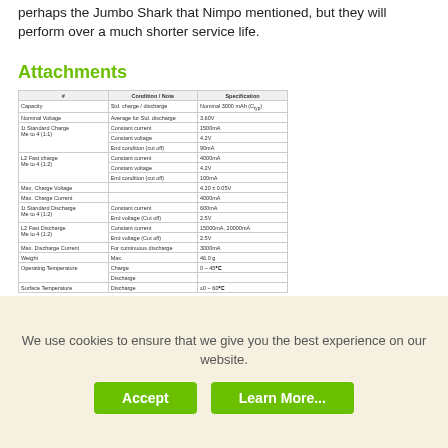perhaps the Jumbo Shark that Nimpo mentioned, but they will perform over a much shorter service life.
Attachments
[Figure (table-as-image): LG HG2 battery specification sheet table image showing parameters like Capacity, Nominal Voltage, Standard Charge, Fast Charge, Max Charge Voltage, Max Charge Current, Standard Discharge, Fast Discharge, Max Discharge Current, Weight, Operating Temperature, Surface Temperature with their conditions and specifications.]
lg_hg2_spec_sheet.png
Last edited: Oct 6, 2020
legsofbeer
We use cookies to ensure that we give you the best experience on our website.